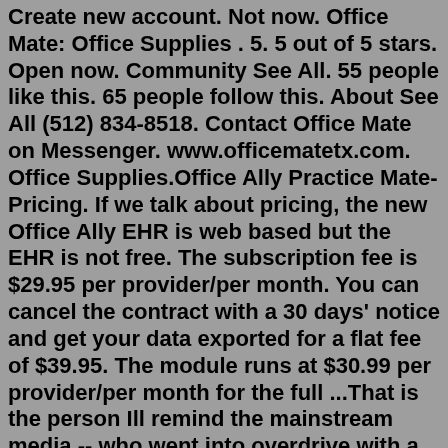Create new account. Not now. Office Mate: Office Supplies . 5. 5 out of 5 stars. Open now. Community See All. 55 people like this. 65 people follow this. About See All (512) 834-8518. Contact Office Mate on Messenger. www.officematetx.com. Office Supplies.Office Ally Practice Mate- Pricing. If we talk about pricing, the new Office Ally EHR is web based but the EHR is not free. The subscription fee is $29.95 per provider/per month. You can cancel the contract with a 30 days' notice and get your data exported for a flat fee of $39.95. The module runs at $30.99 per provider/per month for the full ...That is the person Ill remind the mainstream media -- who went into overdrive with a love fest of sorts for Kamala Harris,whenever it was announced that she was the vice presidential running mate of Joe Biden, its still, Joe, at the top of the ticket. So our strategy has always been to remind people about the incredible job that this president did with his first three-and-a-half years in office.Office Mate Your Employee Handbook for Romance on the Job. Stephanie Kisee & Helaine